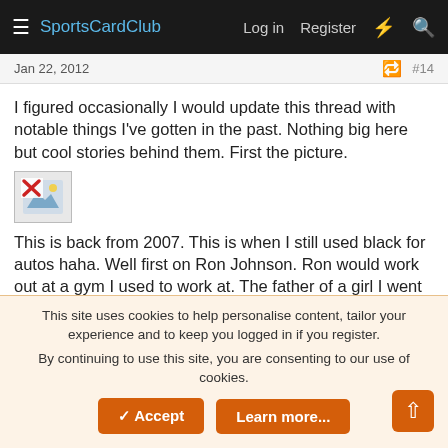SportsCardClub  Log in  Register
Jan 22, 2012  #14
I figured occasionally I would update this thread with notable things I've gotten in the past. Nothing big here but cool stories behind them. First the picture.
[Figure (illustration): Broken image placeholder icon — small thumbnail with a red X]
This is back from 2007. This is when I still used black for autos haha. Well first on Ron Johnson. Ron would work out at a gym I used to work at. The father of a girl I went to elementary school with told me this guy used to play for the Giants years ago. He introduced me to him and Ron greeted me everytime he saw me. I eventually found a card of him on eBay and asked him to sign it. I can't think of what I think the story ended there but...
This site uses cookies to help personalise content, tailor your experience and to keep you logged in if you register.
By continuing to use this site, you are consenting to our use of cookies.